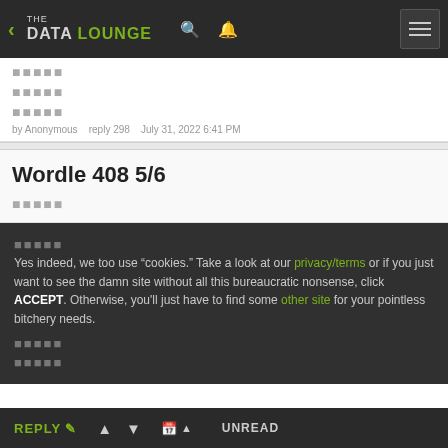THE DATA LOUNGE
□□□□□
□□□□□
□□□□□
by Anonymous   reply 298   July 31, 2022 6:41 PM
Wordle 408 5/6
□□□□□
Yes indeed, we too use "cookies." Take a look at our privacy/terms or if you just want to see the damn site without all this bureaucratic nonsense, click ACCEPT. Otherwise, you'll just have to find some other site for your pointless bitchery needs.
□□□□□
□□□□□
REPLY   ▲   ▼   UNREAD